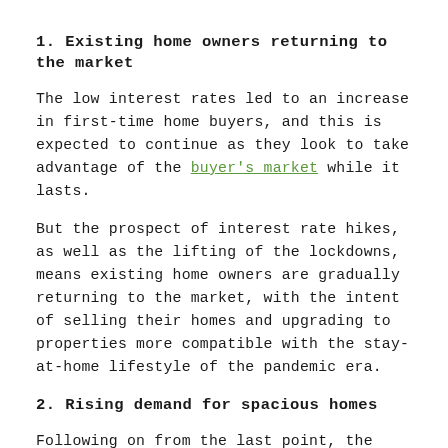1. Existing home owners returning to the market
The low interest rates led to an increase in first-time home buyers, and this is expected to continue as they look to take advantage of the buyer's market while it lasts.
But the prospect of interest rate hikes, as well as the lifting of the lockdowns, means existing home owners are gradually returning to the market, with the intent of selling their homes and upgrading to properties more compatible with the stay-at-home lifestyle of the pandemic era.
2. Rising demand for spacious homes
Following on from the last point, the pandemic has led to a demand for more spacious homes, as more people are forced to work from home, or at least